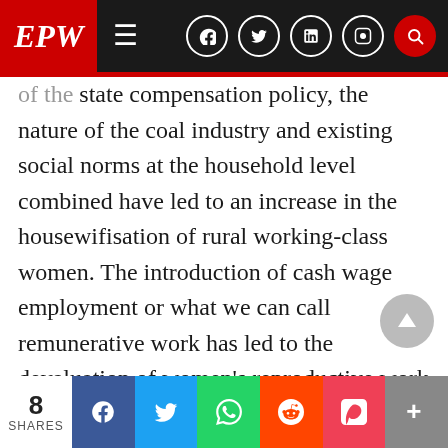EPW | Navigation bar with social icons
of the state compensation policy, the nature of the coal industry and existing social norms at the household level combined have led to an increase in the housewifisation of rural working-class women. The introduction of cash wage employment or what we can call remunerative work has led to the devaluation of women's reproductive work that is unpaid. Hence, being a housewife is seen as a duty rather than work. The underlying social norms within the households that strongly remerged after women lost their access to land and other common resources, have affirmed housewifisation. At the same time, co...
8 SHARES | Facebook | Twitter | WhatsApp | Reddit | Pocket | More